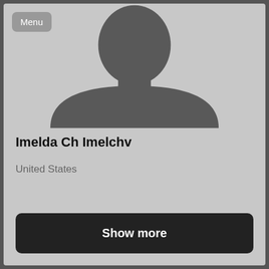[Figure (illustration): Default user avatar silhouette — dark gray head and shoulders shape on light gray background]
Menu
Imelda Ch Imelchv
United States
Show more